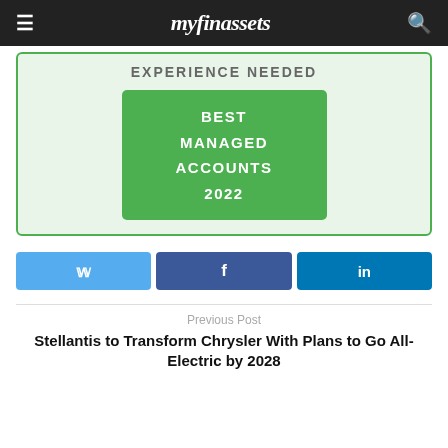myfinassets
EXPERIENCE NEEDED
[Figure (infographic): Green box with white bold text reading: BEST MANAGED ACCOUNTS 2022]
Share buttons: Twitter, Facebook, LinkedIn
Previous Post
Stellantis to Transform Chrysler With Plans to Go All-Electric by 2028